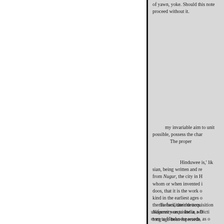of yawn, yoke. Should this note proceed without it.
my invariable aim to unit possible, possess the char The proper
Hinduwee is,' lik sian, being written and re from Nugur, the city in H whom or when invented i doos, that it is the work o kind in the earliest ages o themselves, their detters Naguree was to India, wh long ago been fupersede
To facilitate the acquisition uniformity requisite in a Dicti even to Hinduwee words, as o parts of their leveral language